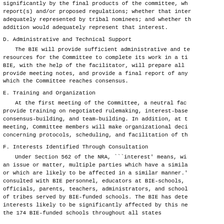significantly by the final products of the committee, wh report(s) and/or proposed regulations; whether that inter adequately represented by tribal nominees; and whether th addition would adequately represent that interest.
D. Administrative and Technical Support
The BIE will provide sufficient administrative and te resources for the Committee to complete its work in a ti BIE, with the help of the facilitator, will prepare all provide meeting notes, and provide a final report of any which the Committee reaches consensus.
E. Training and Organization
At the first meeting of the Committee, a neutral fac provide training on negotiated rulemaking, interest-base consensus-building, and team-building. In addition, at t meeting, Committee members will make organizational deci concerning protocols, scheduling, and facilitation of th
F. Interests Identified Through Consultation
Under Section 562 of the NRA, ```interest' means, wi an issue or matter, multiple parties which have a simila or which are likely to be affected in a similar manner.' consulted with BIE personnel, educators at BIE-schools, officials, parents, teachers, administrators, and school of tribes served by BIE-funded schools. The BIE has dete interests likely to be significantly affected by this ne the 174 BIE-funded schools throughout all states